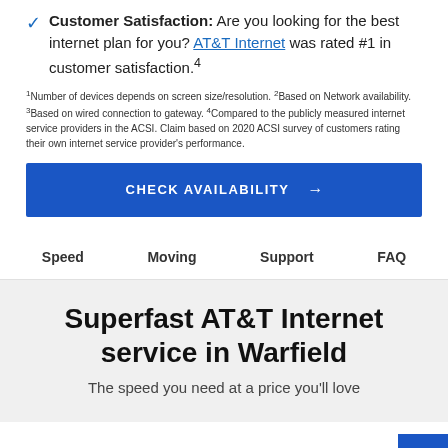Customer Satisfaction: Are you looking for the best internet plan for you? AT&T Internet was rated #1 in customer satisfaction.⁴
¹Number of devices depends on screen size/resolution. ²Based on Network availability. ³Based on wired connection to gateway. ⁴Compared to the publicly measured internet service providers in the ACSI. Claim based on 2020 ACSI survey of customers rating their own internet service provider's performance.
CHECK AVAILABILITY →
Speed   Moving   Support   FAQ
Superfast AT&T Internet service in Warfield
The speed you need at a price you'll love